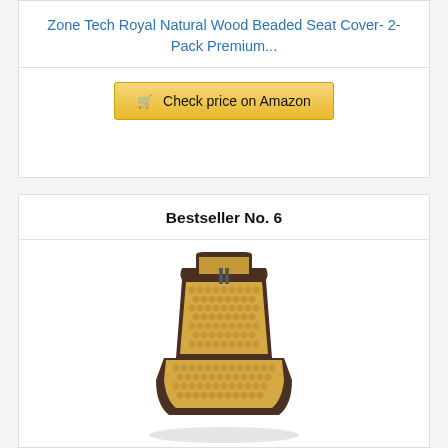Zone Tech Royal Natural Wood Beaded Seat Cover- 2-Pack Premium...
Check price on Amazon
Bestseller No. 6
[Figure (photo): A beaded wood seat cover draped over a car seat, showing the full back and seat cushion covered in natural wood beads in a honey/tan color, with dark brown seat frame visible.]
Zone Tech Royal Natural Wood Bead Seat Cover- Full...